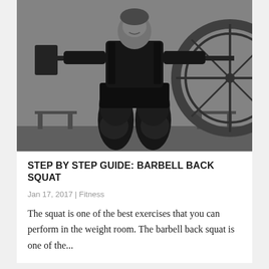[Figure (photo): Black and white historical photograph of a strongman performing a barbell back squat. The muscular athlete is wearing a dark singlet and holding a large barbell across his upper back, with large wagon-wheel style weight plates visible on both sides. The setting appears to be an old gymnasium.]
STEP BY STEP GUIDE: BARBELL BACK SQUAT
Jan 17, 2017 | Fitness
The squat is one of the best exercises that you can perform in the weight room. The barbell back squat is one of the...